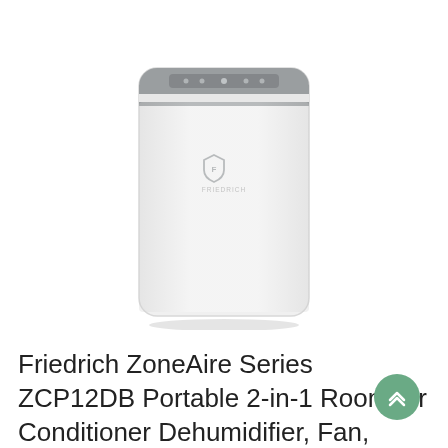[Figure (photo): Friedrich ZoneAire portable air conditioner unit, white with gray top panel featuring control display, shield logo and brand name on front, viewed from front]
Friedrich ZoneAire Series ZCP12DB Portable 2-in-1 Room Air Conditioner Dehumidifier, Fan, 12,000 BTU, 115v